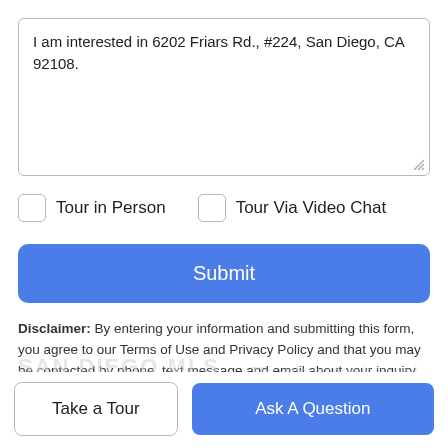I am interested in 6202 Friars Rd., #224, San Diego, CA 92108.
Tour in Person
Tour Via Video Chat
Submit
Disclaimer: By entering your information and submitting this form, you agree to our Terms of Use and Privacy Policy and that you may be contacted by phone, text message and email about your inquiry.
Take a Tour
Ask A Question